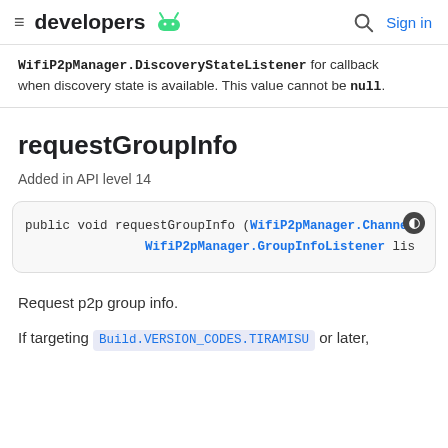developers  [Android logo]  [search]  Sign in
WifiP2pManager.DiscoveryStateListener for callback when discovery state is available. This value cannot be null.
requestGroupInfo
Added in API level 14
[Figure (screenshot): Code block showing: public void requestGroupInfo (WifiP2pManager.Channel, WifiP2pManager.GroupInfoListener lis]
Request p2p group info.
If targeting Build.VERSION_CODES.TIRAMISU or later,